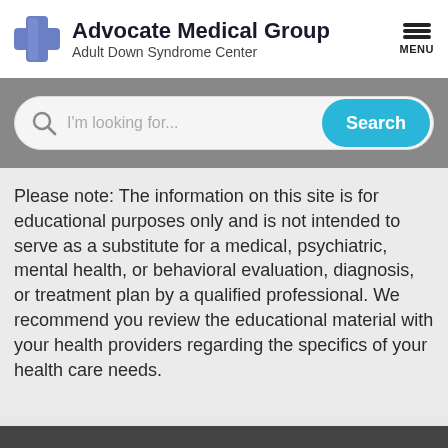[Figure (logo): Advocate Medical Group logo with blue cross icon, title 'Advocate Medical Group' and subtitle 'Adult Down Syndrome Center', with hamburger menu icon labeled MENU on the right]
[Figure (screenshot): Search bar with magnifying glass icon, placeholder text 'I'm looking for...', and a cyan 'Search' button]
Please note: The information on this site is for educational purposes only and is not intended to serve as a substitute for a medical, psychiatric, mental health, or behavioral evaluation, diagnosis, or treatment plan by a qualified professional. We recommend you review the educational material with your health providers regarding the specifics of your health care needs.
Ask a Question | Join our Email List | Help Support our Mission